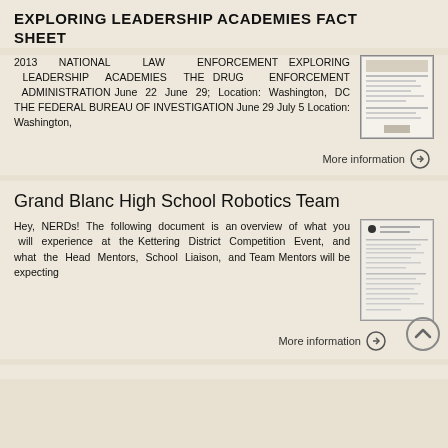EXPLORING LEADERSHIP ACADEMIES FACT SHEET
2013 NATIONAL LAW ENFORCEMENT EXPLORING LEADERSHIP ACADEMIES THE DRUG ENFORCEMENT ADMINISTRATION June 22 June 29; Location: Washington, DC THE FEDERAL BUREAU OF INVESTIGATION June 29 July 5 Location: Washington,
[Figure (screenshot): Thumbnail image of document page]
More information →
Grand Blanc High School Robotics Team
Hey, NERDs! The following document is an overview of what you will experience at the Kettering District Competition Event, and what the Head Mentors, School Liaison, and Team Mentors will be expecting
[Figure (screenshot): Thumbnail image of document page]
More information →